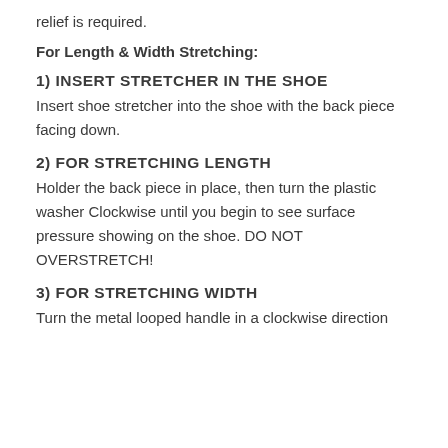relief is required.
For Length & Width Stretching:
1) INSERT STRETCHER IN THE SHOE
Insert shoe stretcher into the shoe with the back piece facing down.
2) FOR STRETCHING LENGTH
Holder the back piece in place, then turn the plastic washer Clockwise until you begin to see surface pressure showing on the shoe. DO NOT OVERSTRETCH!
3) FOR STRETCHING WIDTH
Turn the metal looped handle in a clockwise direction